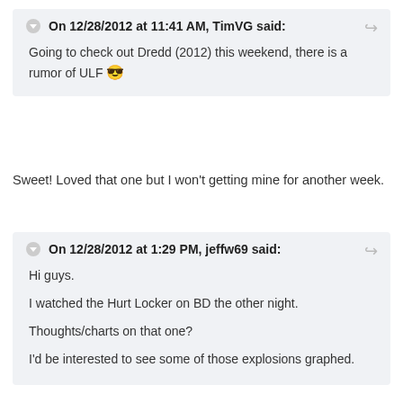On 12/28/2012 at 11:41 AM, TimVG said:
Going to check out Dredd (2012) this weekend, there is a rumor of ULF 😎
Sweet! Loved that one but I won't getting mine for another week.
On 12/28/2012 at 1:29 PM, jeffw69 said:
Hi guys.
I watched the Hurt Locker on BD the other night.
Thoughts/charts on that one?
I'd be interested to see some of those explosions graphed.